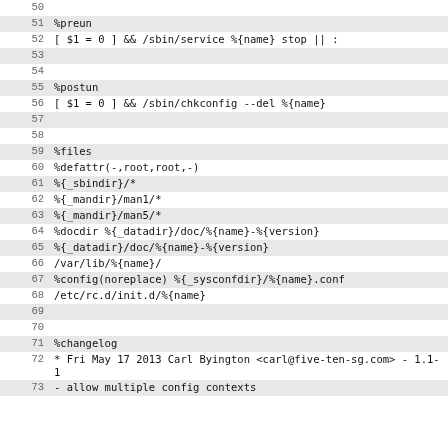50  (empty)
51  %preun
52  [ $1 = 0 ] && /sbin/service %{name} stop || :
53  (empty)
54  (empty)
55  %postun
56  [ $1 = 0 ] && /sbin/chkconfig --del %{name}
57  (empty)
58  (empty)
59  %files
60  %defattr(-,root,root,-)
61  %{_sbindir}/*
62  %{_mandir}/man1/*
63  %{_mandir}/man5/*
64  %docdir %{_datadir}/doc/%{name}-%{version}
65  %{_datadir}/doc/%{name}-%{version}
66  /var/lib/%{name}/
67  %config(noreplace) %{_sysconfdir}/%{name}.conf
68  /etc/rc.d/init.d/%{name}
69  (empty)
70  (empty)
71  %changelog
72  * Fri May 17 2013 Carl Byington <carl@five-ten-sg.com> - 1.1-1
73  - allow multiple config contexts